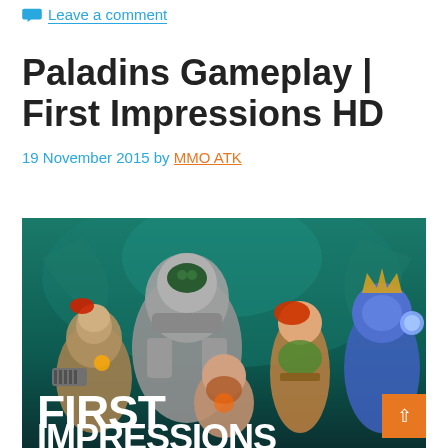Leave a comment
Paladins Gameplay | First Impressions HD
19 November 2015 by MMO ATK
[Figure (photo): Paladins game characters promotional image with text 'FIRST IMPRESSIONS' overlaid at the bottom. Multiple game characters standing together on a teal/dark background.]